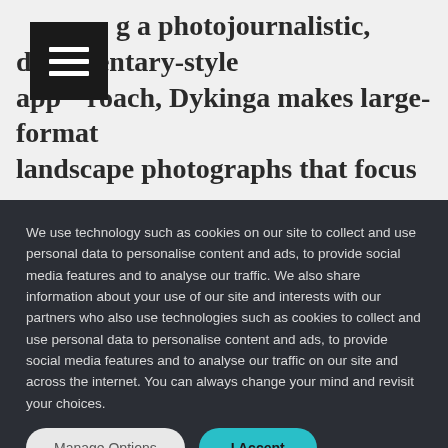Using a photojournalistic, documentary-style approach, Dykinga makes large-format landscape photographs that focus on environmental issues in North America. His latest book, Images: Jack Dykinga's Grand
We use technology such as cookies on our site to collect and use personal data to personalise content and ads, to provide social media features and to analyse our traffic. We also share information about your use of our site and interests with our partners who also use technologies such as cookies to collect and use personal data to personalise content and ads, to provide social media features and to analyse our traffic on our site and across the internet. You can always change your mind and revisit your choices.